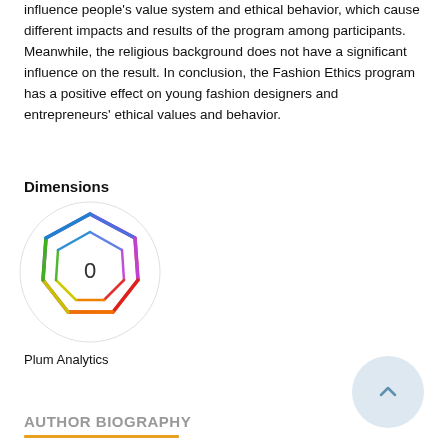influence people's value system and ethical behavior, which cause different impacts and results of the program among participants. Meanwhile, the religious background does not have a significant influence on the result. In conclusion, the Fashion Ethics program has a positive effect on young fashion designers and entrepreneurs' ethical values and behavior.
Dimensions
[Figure (other): Plum Analytics Dimensions widget showing a colorful multi-faceted polygon shape with the number 0 in the center, rendered in a circular white frame.]
Plum Analytics
AUTHOR BIOGRAPHY